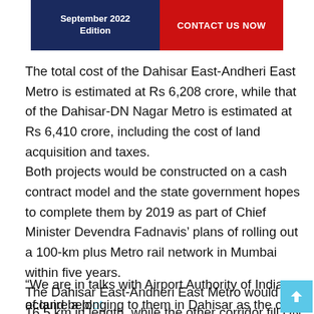[Figure (infographic): Banner with dark blue background showing 'September 2022 Edition' on the left and a red section with 'CONTACT US NOW' on the right]
The total cost of the Dahisar East-Andheri East Metro is estimated at Rs 6,208 crore, while that of the Dahisar-DN Nagar Metro is estimated at Rs 6,410 crore, including the cost of land acquisition and taxes.
Both projects would be constructed on a cash contract model and the state government hopes to complete them by 2019 as part of Chief Minister Devendra Fadnavis' plans of rolling out a 100-km plus Metro rail network in Mumbai within five years.
The Dahisar East-Andheri East Metro would be 16.5 km in length, while the other corridor till DN Nagar would be 18 km long.
“We are in talks with Airport Authority of India to acquire a plot of land belonging to them in Dahisar as the car depot for the